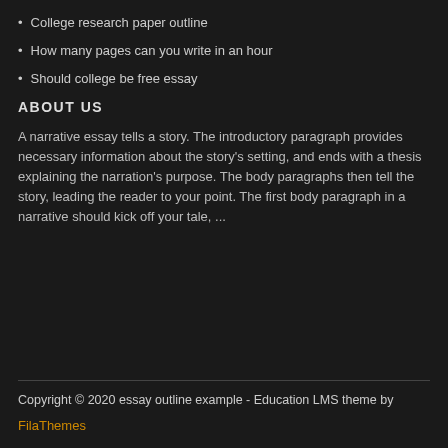College research paper outline
How many pages can you write in an hour
Should college be free essay
ABOUT US
A narrative essay tells a story. The introductory paragraph provides necessary information about the story's setting, and ends with a thesis explaining the narration's purpose. The body paragraphs then tell the story, leading the reader to your point. The first body paragraph in a narrative should kick off your tale, ...
Copyright © 2020 essay outline example - Education LMS theme by FilaThemes